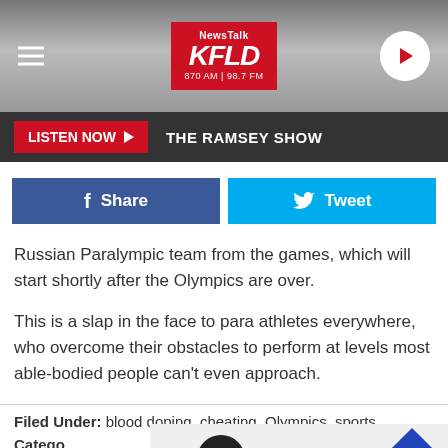[Figure (screenshot): NewsTalk KFLD 870 AM 98.7 FM radio station website header with logo, hamburger menu, and play button]
LISTEN NOW ▶  THE RAMSEY SHOW
[Figure (infographic): Facebook Share button (blue) and Twitter Tweet button (light blue)]
Russian Paralympic team from the games, which will start shortly after the Olympics are over.
This is a slap in the face to para athletes everywhere, who overcome their obstacles to perform at levels most able-bodied people can't even approach.
Filed Under: blood doping, cheating, Olympics, sports
Catego